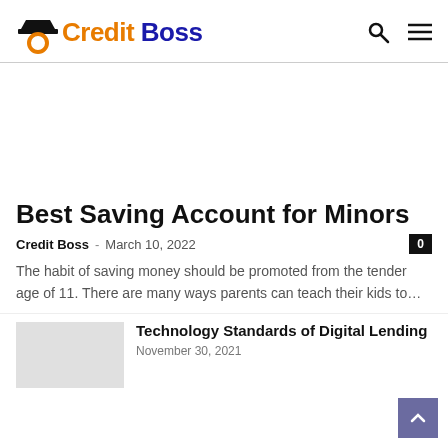Credit Boss
Best Saving Account for Minors
Credit Boss · March 10, 2022 · 0
The habit of saving money should be promoted from the tender age of 11. There are many ways parents can teach their kids to…
Technology Standards of Digital Lending
November 30, 2021